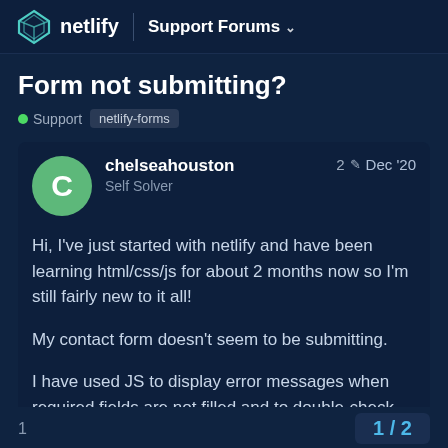netlify | Support Forums
Form not submitting?
Support netlify-forms
chelseahouston
Self Solver
2 ✏ Dec '20
Hi, I've just started with netlify and have been learning html/css/js for about 2 months now so I'm still fairly new to it all!

My contact form doesn't seem to be submitting.

I have used JS to display error messages when required fields are not filled and to double-check when the message area is blank. Also, it shows a little thank you when submitted. But the form doesn't actually submit. Can someone help me out?

Link: https://chelseahoustondevelopment.n...
1   1 / 2